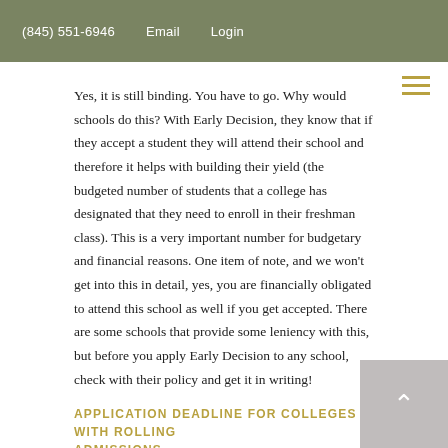(845) 551-6946   Email   Login
Yes, it is still binding. You have to go. Why would schools do this? With Early Decision, they know that if they accept a student they will attend their school and therefore it helps with building their yield (the budgeted number of students that a college has designated that they need to enroll in their freshman class). This is a very important number for budgetary and financial reasons. One item of note, and we won't get into this in detail, yes, you are financially obligated to attend this school as well if you get accepted. There are some schools that provide some leniency with this, but before you apply Early Decision to any school, check with their policy and get it in writing!
APPLICATION DEADLINE FOR COLLEGES WITH ROLLING ADMISSIONS
Rolling Admission is pretty much what it says. As you apply, your application will be reviewed and an admissions decision will be issued, all